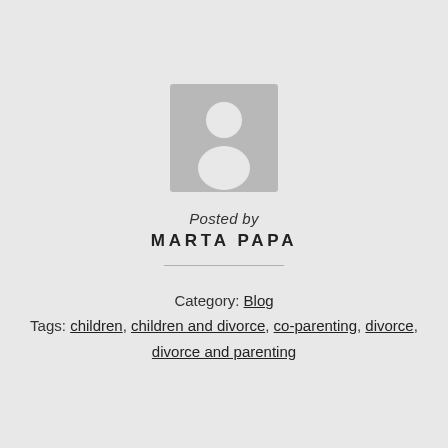[Figure (illustration): Generic user avatar placeholder icon: grey square background with white silhouette of a person (head circle and body shape)]
Posted by
MARTA PAPA
Category: Blog
Tags: children, children and divorce, co-parenting, divorce, divorce and parenting